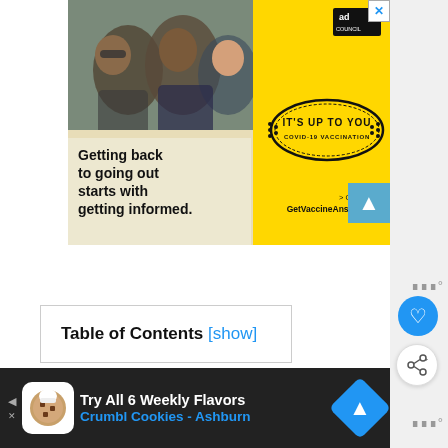[Figure (photo): Ad Council COVID-19 vaccination advertisement. Left side shows photo of laughing friends outdoors. Right side is bright yellow with 'IT'S UP TO YOU COVID-19 VACCINATION' badge/stamp. Text reads 'Getting back to going out starts with getting informed.' with '> Get info at GetVaccineAnswers.org' and Ad Council logo.]
Table of Contents [show]
[Figure (screenshot): Bottom advertisement bar with dark background. Cookie icon logo. Text: 'Try All 6 Weekly Flavors' and 'Crumbl Cookies - Ashburn' in blue. Blue navigation arrow icon on right.]